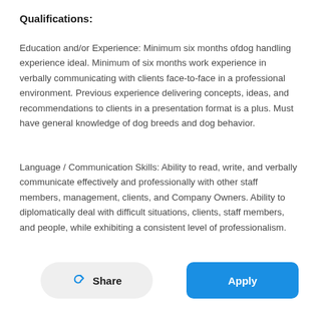Qualifications:
Education and/or Experience: Minimum six months ofdog handling experience ideal. Minimum of six months work experience in verbally communicating with clients face-to-face in a professional environment. Previous experience delivering concepts, ideas, and recommendations to clients in a presentation format is a plus. Must have general knowledge of dog breeds and dog behavior.
Language / Communication Skills: Ability to read, write, and verbally communicate effectively and professionally with other staff members, management, clients, and Company Owners. Ability to diplomatically deal with difficult situations, clients, staff members, and people, while exhibiting a consistent level of professionalism.